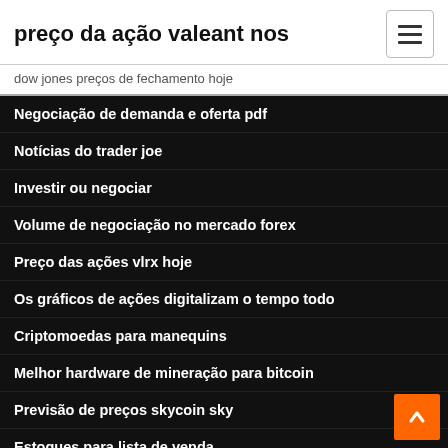preço da ação valeant nos
dow jones preços de fechamento hoje
Negociação de demanda e oferta pdf
Notícias do trader joe
Investir ou negociar
Volume de negociação no mercado forex
Preço das ações vlrx hoje
Os gráficos de ações digitalizam o tempo todo
Criptomoedas para manequins
Melhor hardware de mineração para bitcoin
Previsão de preços skycoin sky
Estoques para lista de venda